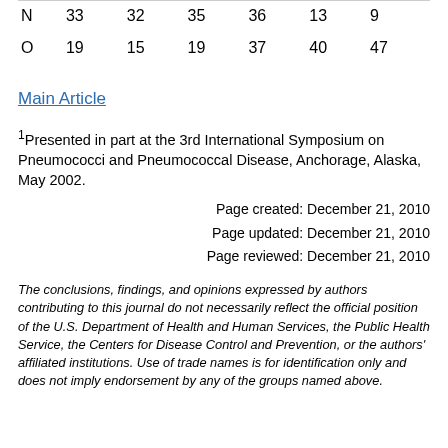|  |  |  |  |  |  |  |
| --- | --- | --- | --- | --- | --- | --- |
| N | 33 | 32 | 35 | 36 | 13 | 9 |
| O | 19 | 15 | 19 | 37 | 40 | 47 |
Main Article
1Presented in part at the 3rd International Symposium on Pneumococci and Pneumococcal Disease, Anchorage, Alaska, May 2002.
Page created: December 21, 2010
Page updated: December 21, 2010
Page reviewed: December 21, 2010
The conclusions, findings, and opinions expressed by authors contributing to this journal do not necessarily reflect the official position of the U.S. Department of Health and Human Services, the Public Health Service, the Centers for Disease Control and Prevention, or the authors' affiliated institutions. Use of trade names is for identification only and does not imply endorsement by any of the groups named above.